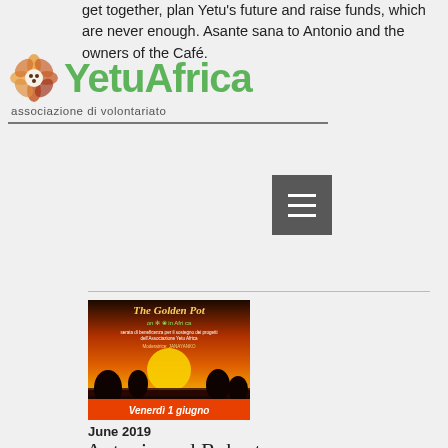get together, plan Yetu's future and raise funds, which are never enough. Asante sana to Antonio and the owners of the Café.
[Figure (logo): YetuAfrica logo with flower icon and text 'YetuAfrica associazione di volontariato']
[Figure (other): Hamburger menu button (three horizontal lines on dark grey background)]
[Figure (photo): The Golden Pot event flyer for Yetu Africa charity evening, with orange/sunset background and text 'Venerdì 1 giugno']
June 2019
Antonio and Roberto